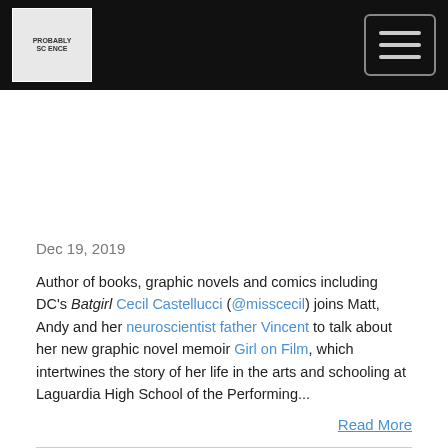Probably Science [logo] [hamburger menu]
Dec 19, 2019
Author of books, graphic novels and comics including DC's Batgirl Cecil Castellucci (@misscecil) joins Matt, Andy and her neuroscientist father Vincent to talk about her new graphic novel memoir Girl on Film, which intertwines the story of her life in the arts and schooling at Laguardia High School of the Performing...
Read More
Episode 365 - Louis Katz